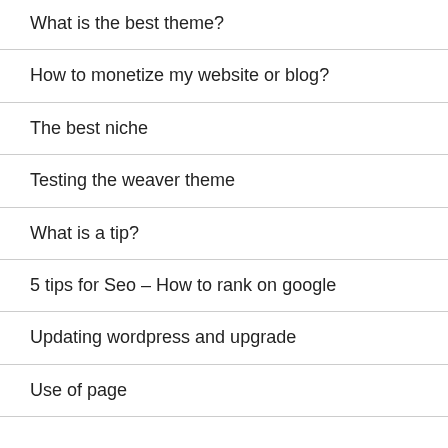What is the best theme?
How to monetize my website or blog?
The best niche
Testing the weaver theme
What is a tip?
5 tips for Seo – How to rank on google
Updating wordpress and upgrade
Use of page